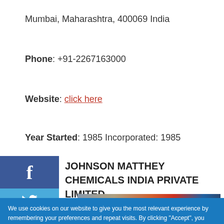Mumbai, Maharashtra, 400069 India
Phone: +91-2267163000
Website: click here
Year Started: 1985 Incorporated: 1985
JOHNSON MATTHEY CHEMICALS INDIA PRIVATE LIMITED
We use cookies on our website to give you the most relevant experience by remembering your preferences and repeat visits. By clicking “Accept”, you consent to the use of ALL the
[Figure (photo): Advertisement banner showing an airplane being loaded with cargo, with text overlay 'WITHOUT REGARD TO POLITICS, RELIGION OR HEALTH TO MAN']
x